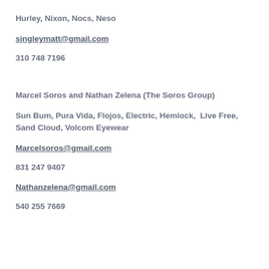Hurley, Nixon, Nocs, Neso
singleymatt@gmail.com
310 748 7196
Marcel Soros and Nathan Zelena (The Soros Group)
Sun Bum, Pura Vida, Flojos, Electric, Hemlock,  Live Free, Sand Cloud, Volcom Eyewear
Marcelsoros@gmail.com
831 247 9407
Nathanzelena@gmail.com
540 255 7669